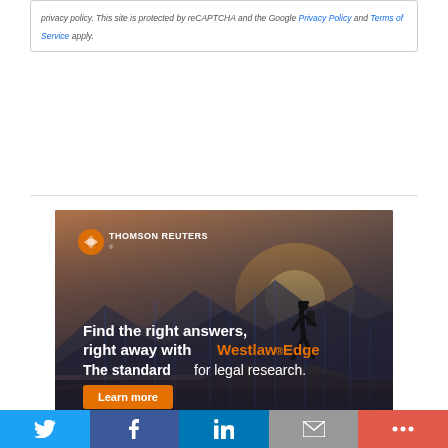privacy policy. This site is protected by reCAPTCHA and the Google Privacy Policy and Terms of Service apply.
[Figure (illustration): Thomson Reuters advertisement for Westlaw Edge. Shows a person with a backpack standing on a rocky mountain peak at sunset with a dramatic sky. Text overlay reads: 'Find the right answers, right away with Westlaw Edge. The standard for legal research.' with an orange 'Learn more' button. Thomson Reuters logo in upper left.]
Twitter | Facebook | LinkedIn | Email | More